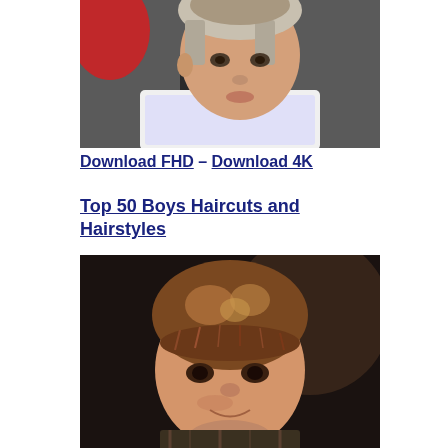[Figure (photo): A young boy with a faded undercut hairstyle sitting in a barber chair, wearing a patterned cape. Photo taken from slightly above, showing the top and side of the haircut.]
Download FHD – Download 4K
Top 50 Boys Haircuts and Hairstyles
[Figure (photo): A young boy with a bowl-cut style medium-length brown hair with highlights, smiling slightly, wearing a plaid shirt. Close-up portrait against a dark background.]